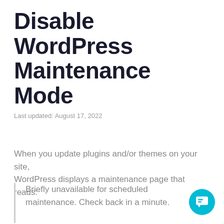Disable WordPress Maintenance Mode
Last updated: August 17, 2022
When you update plugins and/or themes on your site, WordPress displays a maintenance page that reads:
Briefly unavailable for scheduled maintenance. Check back in a minute.
[Figure (other): Teal chat bubble button icon in bottom-right corner]